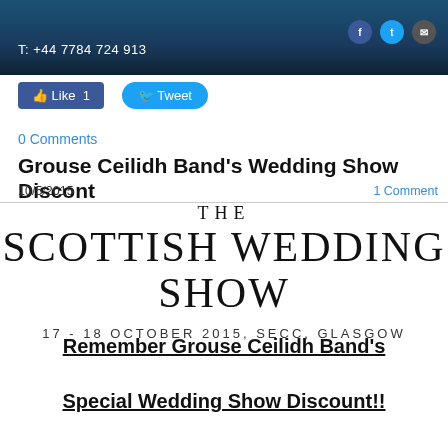T: +44 7784 724 913
[Figure (other): Facebook Like button showing 'Like 1' and Twitter Tweet button]
0 Comments
Grouse Ceilidh Band's Wedding Show Discont
10/5/2015    1 Comment
[Figure (other): Scottish Wedding Show poster: THE SCOTTISH WEDDING SHOW, 17 - 18 OCTOBER 2015, SECC, GLASGOW]
Remember Grouse Ceilidh Band's

Special Wedding Show Discount!!